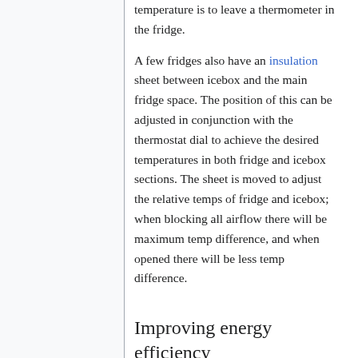temperature is to leave a thermometer in the fridge.
A few fridges also have an insulation sheet between icebox and the main fridge space. The position of this can be adjusted in conjunction with the thermostat dial to achieve the desired temperatures in both fridge and icebox sections. The sheet is moved to adjust the relative temps of fridge and icebox; when blocking all airflow there will be maximum temp difference, and when opened there will be less temp difference.
Improving energy efficiency
The simplest way to improve energy efficiency is to replace a 1980s fridge